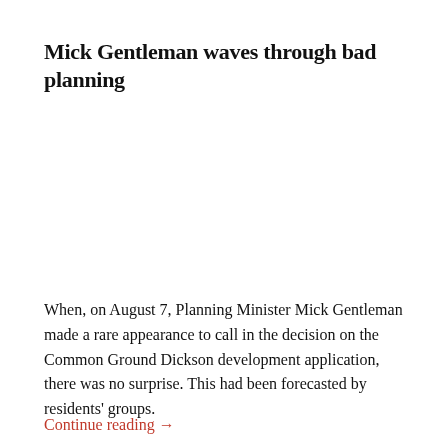Mick Gentleman waves through bad planning
When, on August 7, Planning Minister Mick Gentleman made a rare appearance to call in the decision on the Common Ground Dickson development application, there was no surprise. This had been forecasted by residents' groups.
Continue reading →